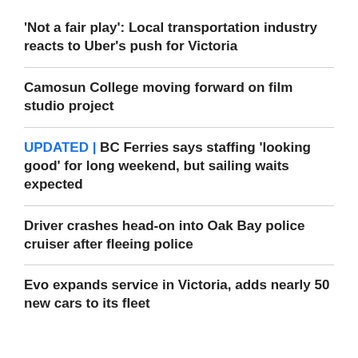'Not a fair play': Local transportation industry reacts to Uber's push for Victoria
Camosun College moving forward on film studio project
UPDATED | BC Ferries says staffing 'looking good' for long weekend, but sailing waits expected
Driver crashes head-on into Oak Bay police cruiser after fleeing police
Evo expands service in Victoria, adds nearly 50 new cars to its fleet